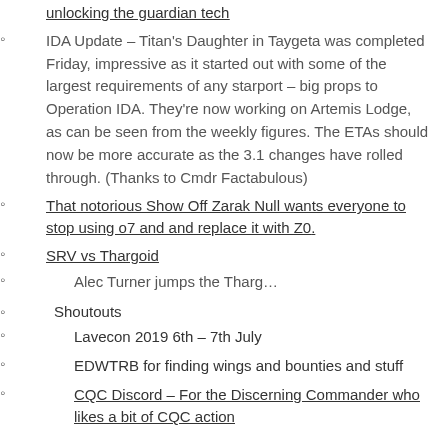unlocking the guardian tech
IDA Update – Titan's Daughter in Taygeta was completed Friday, impressive as it started out with some of the largest requirements of any starport – big props to Operation IDA. They're now working on Artemis Lodge, as can be seen from the weekly figures. The ETAs should now be more accurate as the 3.1 changes have rolled through. (Thanks to Cmdr Factabulous)
That notorious Show Off Zarak Null wants everyone to stop using o7 and and replace it with Z0.
SRV vs Thargoid
Alec Turner jumps the Tharg…
Shoutouts
Lavecon 2019 6th – 7th July
EDWTRB for finding wings and bounties and stuff
CQC Discord – For the Discerning Commander who likes a bit of CQC action